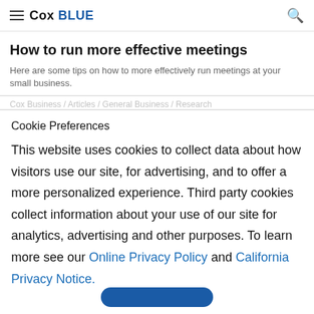Cox BLUE
How to run more effective meetings
Here are some tips on how to more effectively run meetings at your small business.
Cookie Preferences
This website uses cookies to collect data about how visitors use our site, for advertising, and to offer a more personalized experience. Third party cookies collect information about your use of our site for analytics, advertising and other purposes. To learn more see our Online Privacy Policy and California Privacy Notice.